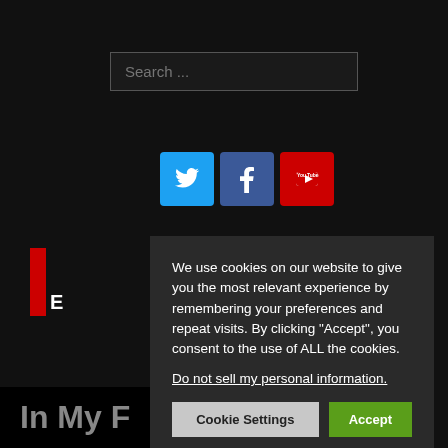[Figure (screenshot): Search bar with placeholder text 'Search ...' on dark background]
[Figure (infographic): Social media icons: Twitter (blue bird), Facebook (blue f), YouTube (red play button)]
[Figure (logo): Red vertical bar logo with letter E below, partial brand logo on dark background]
We use cookies on our website to give you the most relevant experience by remembering your preferences and repeat visits. By clicking “Accept”, you consent to the use of ALL the cookies.
Do not sell my personal information.
Cookie Settings
Accept
Privacy Policy
In My F